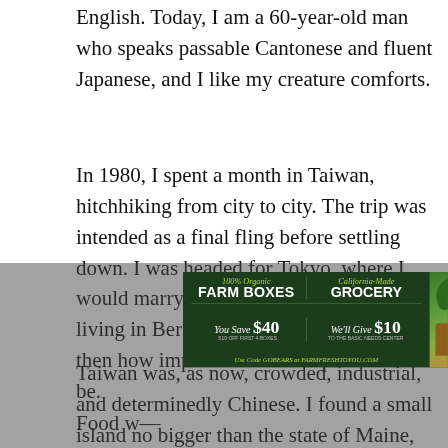English. Today, I am a 60-year-old man who speaks passable Cantonese and fluent Japanese, and I like my creature comforts.
In 1980, I spent a month in Taiwan, hitchhiking from city to city. The trip was intended as a final fling before settling down. I was headed for Tokyo, where I would marry the Japanese girl I met while living in Berkeley. Neither of us realized then how impermanent life’s plans could be.
Taiwan was, as now, crowded, industrial, and determinedly Chinese. I found a small island no bigger than the state of Maine, but with abundant natural beauty, and a sense of nationalism bordering on jingoism. People would ask me if I had been to the Mainland, and then, inevitably, which I prefer— [obscured by ad] —ry, Taiwan— [obscured] —olite.
[Figure (illustration): Advertisement banner for Farm Fresh To You featuring '100% Organic Farm Boxes' and 'California-Made Grocery', with an offer 'You Save $40 (S10 off first 4 boxes)' and 'We'll Give $10 to the Basic Needs Center', use code GOBEARS at farmfreshtoyou.com. Right side shows a box of fresh vegetables and produce.]
Food w— [obscured] —ese cho— [obscured]